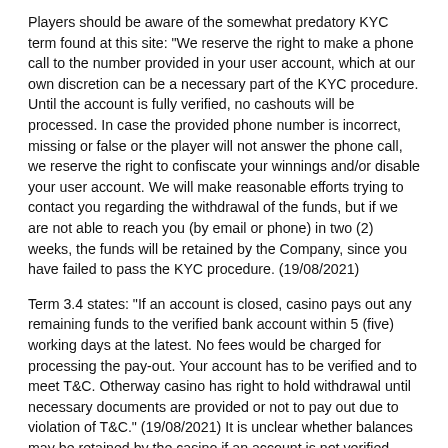Players should be aware of the somewhat predatory KYC term found at this site: "We reserve the right to make a phone call to the number provided in your user account, which at our own discretion can be a necessary part of the KYC procedure. Until the account is fully verified, no cashouts will be processed. In case the provided phone number is incorrect, missing or false or the player will not answer the phone call, we reserve the right to confiscate your winnings and/or disable your user account. We will make reasonable efforts trying to contact you regarding the withdrawal of the funds, but if we are not able to reach you (by email or phone) in two (2) weeks, the funds will be retained by the Company, since you have failed to pass the KYC procedure. (19/08/2021)
Term 3.4 states: "If an account is closed, casino pays out any remaining funds to the verified bank account within 5 (five) working days at the latest. No fees would be charged for processing the pay-out. Your account has to be verified and to meet T&C. Otherway casino has right to hold withdrawal until necessary documents are provided or not to pay out due to violation of T&C." (19/08/2021) It is unclear whether balances may be retained by the casino if an account is not verified within the 5 days or if this happens after a period of more than 5 days - for this reason we feel it necessary to draw prospective players' attention to the term before signup.
There are some responsible gaming features that players should be aware of before signing up. They are as follows: 2.5...